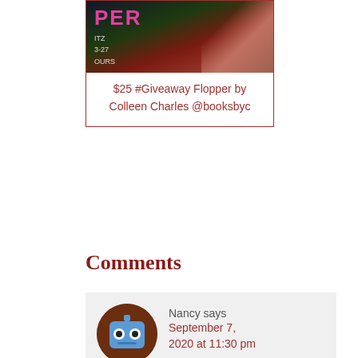[Figure (illustration): Book cover image showing partial text 'PER', 'ITZ', '3-27', 'OURS' with a person's face in shadow on a dark background with pink/magenta and green tones]
$25 #Giveaway Flopper by Colleen Charles @booksbyc
Comments
[Figure (illustration): Circular avatar icon showing a blue robot/gear character face on a brown background]
Nancy says September 7, 2020 at 11:30 pm